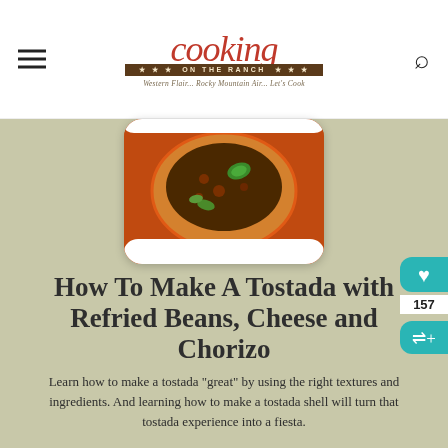cooking on the ranch — Western Flair... Rocky Mountain Air... Let's Cook
[Figure (photo): Tostada with refried beans, chorizo, jalapeño and cilantro on a red plate]
How To Make A Tostada with Refried Beans, Cheese and Chorizo
Learn how to make a tostada "great" by using the right textures and ingredients. And learning how to make a tostada shell will turn that tostada experience into a fiesta.
[Figure (infographic): Advertisement banner: Foster Adopt Rescue Advocate with dog image]